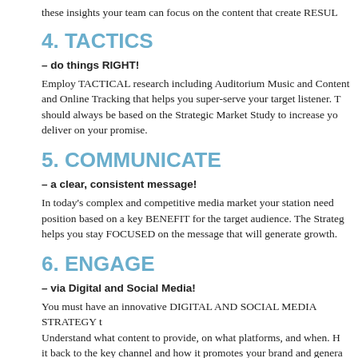these insights your team can focus on the content that create RESUL
4. TACTICS
– do things RIGHT!
Employ TACTICAL research including Auditorium Music and Content and Online Tracking that helps you super-serve your target listener. T should always be based on the Strategic Market Study to increase yo deliver on your promise.
5. COMMUNICATE
– a clear, consistent message!
In today's complex and competitive media market your station need position based on a key BENEFIT for the target audience. The Strateg helps you stay FOCUSED on the message that will generate growth.
6. ENGAGE
– via Digital and Social Media!
You must have an innovative DIGITAL AND SOCIAL MEDIA STRATEGY t Understand what content to provide, on what platforms, and when. H it back to the key channel and how it promotes your brand and genera revenue.